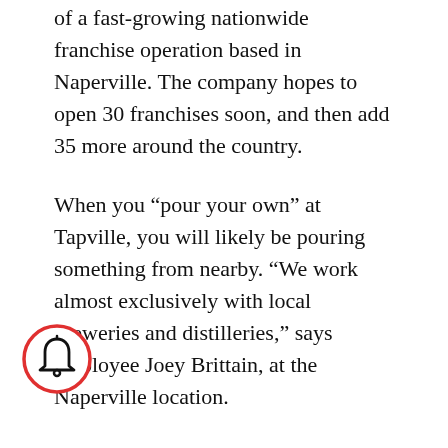of a fast-growing nationwide franchise operation based in Naperville. The company hopes to open 30 franchises soon, and then add 35 more around the country.
When you “pour your own” at Tapville, you will likely be pouring something from nearby. “We work almost exclusively with local breweries and distilleries,” says employee Joey Brittain, at the Naperville location.
Of course, the resurgence of COVID-19, even in Evanston where the positivity rate is low, comes at a time when restaurant owners were hoping pandemic-related troubles were behind them.